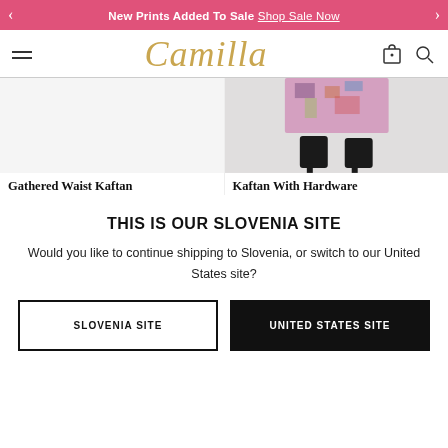New Prints Added To Sale Shop Sale Now
[Figure (logo): Camilla brand logo in gold italic script]
[Figure (photo): Gathered Waist Kaftan Mad As A Snake product image (empty/white)]
[Figure (photo): Kaftan With Hardware Collar Stand product image showing lower half with floral print and black heeled sandals]
Gathered Waist Kaftan
Mad As A Snake
Kaftan With Hardware Collar Stand
THIS IS OUR SLOVENIA SITE
Would you like to continue shipping to Slovenia, or switch to our United States site?
SLOVENIA SITE
UNITED STATES SITE